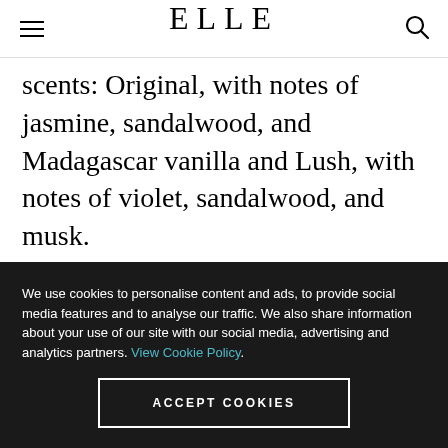ELLE
scents: Original, with notes of jasmine, sandalwood, and Madagascar vanilla and Lush, with notes of violet, sandalwood, and musk.
We use cookies to personalise content and ads, to provide social media features and to analyse our traffic. We also share information about your use of our site with our social media, advertising and analytics partners. View Cookie Policy.
ACCEPT COOKIES